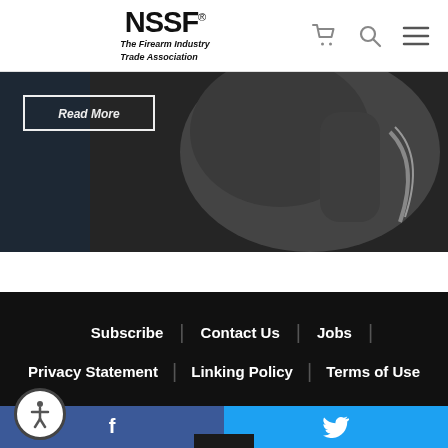NSSF® The Firearm Industry Trade Association — navigation header with cart, search, and menu icons
[Figure (photo): Hero image showing a person in dark athletic clothing, partial view of torso and arm, with a 'Read More' or similar CTA button overlay on dark background]
Subscribe | Contact Us | Jobs | Privacy Statement | Linking Policy | Terms of Use
We use cookies to ensure we give you the best experience on our website. By clicking "Accept" or using our website, you consent to the use of cookies unless you have disabled them.
[Figure (infographic): Social media bar at the bottom with Facebook (blue) and Twitter (blue) icons side by side]